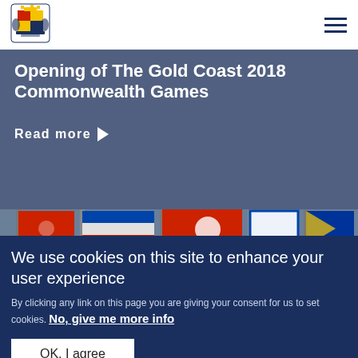[Figure (logo): UK Royal coat of arms logo in blue and gold]
Opening of The Gold Coast 2018 Commonwealth Games
Read more ▶
[Figure (photo): Colourful national flags on poles against a building background]
We use cookies on this site to enhance your user experience
By clicking any link on this page you are giving your consent for us to set cookies. No, give me more info
OK, I agree